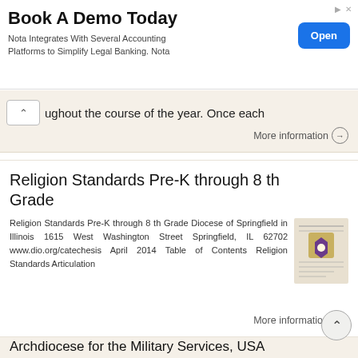[Figure (other): Advertisement banner: 'Book A Demo Today' - Nota Integrates With Several Accounting Platforms to Simplify Legal Banking. Nota. Open button.]
ughout the course of the year. Once each
More information →
Religion Standards Pre-K through 8 th Grade
Religion Standards Pre-K through 8 th Grade Diocese of Springfield in Illinois 1615 West Washington Street Springfield, IL 62702 www.dio.org/catechesis April 2014 Table of Contents Religion Standards Articulation
More information →
Archdiocese for the Military Services, USA